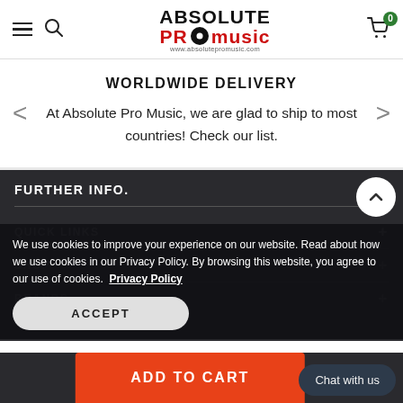[Figure (logo): Absolute Pro Music logo with vinyl record graphic and website URL www.absolutepromusic.com]
WORLDWIDE DELIVERY
At Absolute Pro Music, we are glad to ship to most countries! Check our list.
FURTHER INFO.
We use cookies to improve your experience on our website. Read about how we use cookies in our Privacy Policy. By browsing this website, you agree to our use of cookies. Privacy Policy
ACCEPT
QUICK LINKS
SHOP
BRANDS
ADD TO CART
Chat with us